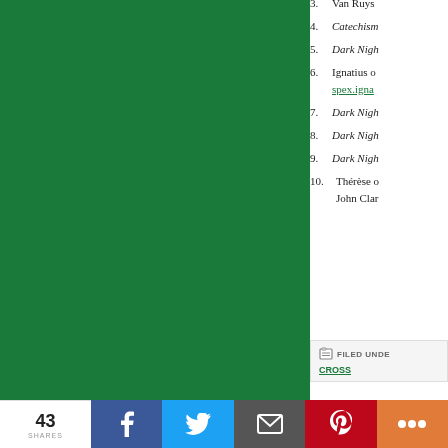[Figure (photo): Large green solid color panel on the left side of the page]
3. Van Ruys…
4. Catechism…
5. Dark Nigh…
6. Ignatius o… spex.igna…
7. Dark Nigh…
8. Dark Nigh…
9. Dark Nigh…
10. Thérèse o… John Clar…
FILED UNDER
CROSS
43 SHARES
[Figure (screenshot): Social sharing bar at the bottom with Facebook, Twitter, Email, Pinterest, and More buttons]